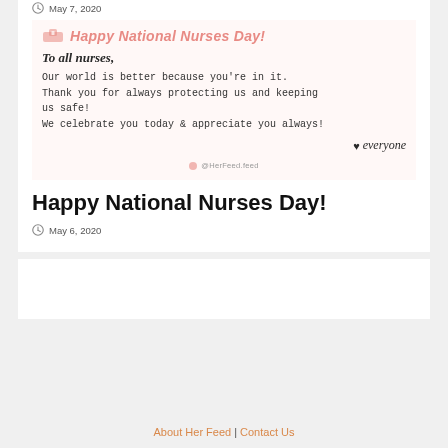May 7, 2020
[Figure (illustration): Happy National Nurses Day greeting card image with pink nurse hat icon, italic title text, message to nurses, heart and 'everyone' signature, and @HerFeed watermark]
Happy National Nurses Day!
May 6, 2020
About Her Feed | Contact Us